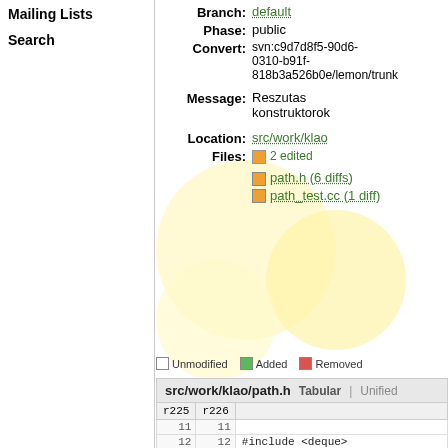Mailing Lists
Search
Branch: default
Phase: public
Convert: svn:c9d7d8f5-90d6-0310-b91f-818b3a526b0e/lemon/trunk
Message: Reszutas konstruktorok
Location: src/work/klao
Files: 2 edited
path.h (6 diffs)
path_test.cc (1 diff)
Unmodified   Added   Removed
| r225 | r226 |  |
| --- | --- | --- |
| 11 | 11 |  |
| 12 | 12 | #include <deque> |
|  | 13 | #include <algorithm> |
| 13 | 14 |  |
| 14 | 15 | #include <invalid.h> |
| ... | ... |  |